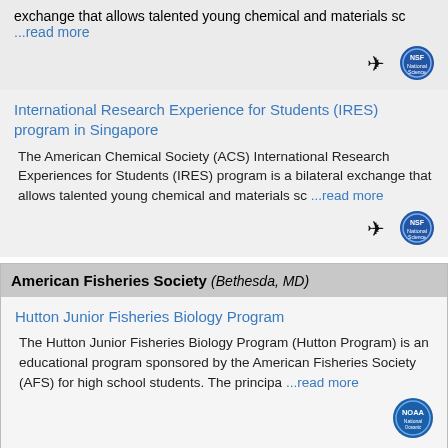exchange that allows talented young chemical and materials sc ...read more
International Research Experience for Students (IRES) program in Singapore
The American Chemical Society (ACS) International Research Experiences for Students (IRES) program is a bilateral exchange that allows talented young chemical and materials sc ...read more
American Fisheries Society (Bethesda, MD)
Hutton Junior Fisheries Biology Program
The Hutton Junior Fisheries Biology Program (Hutton Program) is an educational program sponsored by the American Fisheries Society (AFS) for high school students. The principa ...read more